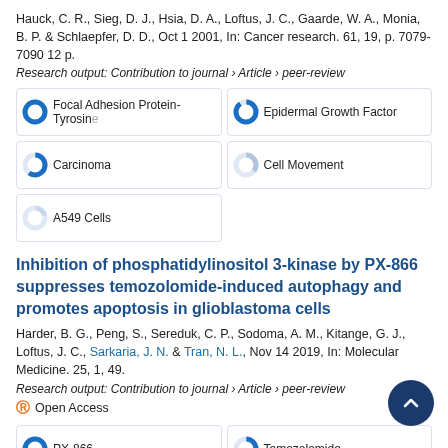Hauck, C. R., Sieg, D. J., Hsia, D. A., Loftus, J. C., Gaarde, W. A., Monia, B. P. & Schlaepfer, D. D., Oct 1 2001, In: Cancer research. 61, 19, p. 7079-7090 12 p.
Research output: Contribution to journal › Article › peer-review
[Figure (infographic): Five keyword badges with donut-chart fill indicators: Focal Adhesion Protein-Tyrosine (100%), Epidermal Growth Factor (90%), Carcinoma (60%), Cell Movement (35%), A549 Cells (20%)]
Inhibition of phosphatidylinositol 3-kinase by PX-866 suppresses temozolomide-induced autophagy and promotes apoptosis in glioblastoma cells
Harder, B. G., Peng, S., Sereduk, C. P., Sodoma, A. M., Kitange, G. J., Loftus, J. C., Sarkaria, J. N. & Tran, N. L., Nov 14 2019, In: Molecular Medicine. 25, 1, 49.
Research output: Contribution to journal › Article › peer-review
Open Access
[Figure (infographic): Two keyword badges visible: PX-866 (100%), Temozolomide (~55%)]